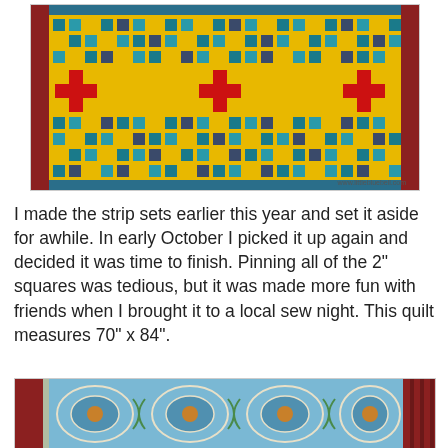[Figure (photo): Colorful patchwork quilt with blue, yellow, teal, and red cross motifs displayed on a red fence/wall outdoors. Watermark: www.littlebluebell.com]
I made the strip sets earlier this year and set it aside for awhile. In early October I picked it up again and decided it was time to finish. Pinning all of the 2" squares was tedious, but it was made more fun with friends when I brought it to a local sew night. This quilt measures 70" x 84".
[Figure (photo): Blue and multicolored floral/medallion patterned quilt back displayed on a red fence outdoors.]